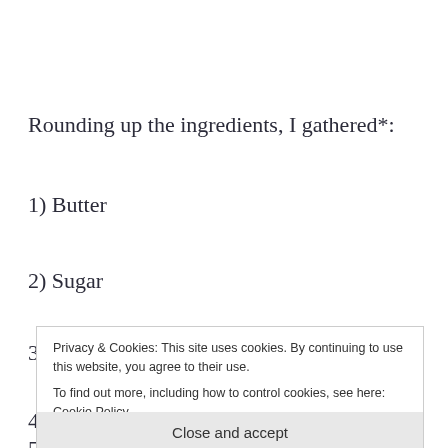Rounding up the ingredients, I gathered*:
1) Butter
2) Sugar
3) [partially obscured by cookie banner]
4) [partially obscured by cookie banner]
5) [partially visible at bottom]
Privacy & Cookies: This site uses cookies. By continuing to use this website, you agree to their use.
To find out more, including how to control cookies, see here: Cookie Policy
Close and accept